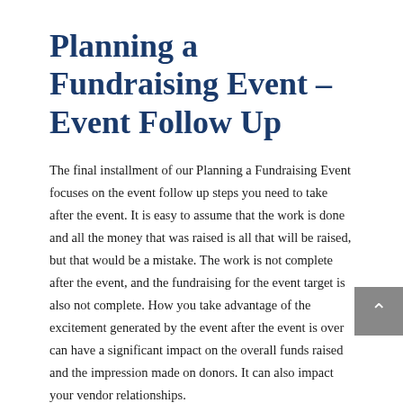Planning a Fundraising Event – Event Follow Up
The final installment of our Planning a Fundraising Event focuses on the event follow up steps you need to take after the event. It is easy to assume that the work is done and all the money that was raised is all that will be raised, but that would be a mistake. The work is not complete after the event, and the fundraising for the event target is also not complete. How you take advantage of the excitement generated by the event after the event is over can have a significant impact on the overall funds raised and the impression made on donors. It can also impact your vendor relationships.
Posted in Fundraising, Nonprofit Basics Tagged event